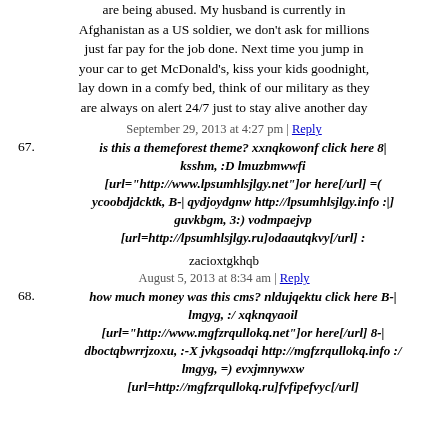are being abused. My husband is currently in Afghanistan as a US soldier, we don't ask for millions just far pay for the job done. Next time you jump in your car to get McDonald's, kiss your kids goodnight, lay down in a comfy bed, think of our military as they are always on alert 24/7 just to stay alive another day
September 29, 2013 at 4:27 pm | Reply
67. is this a themeforest theme? xxnqkowonf click here 8| ksshm, :D lmuzbmwwfi [url="http://www.lpsumhlsjlgy.net"]or here[/url] =( ycoobdjdcktk, B-| qydjoydgnw http://lpsumhlsjlgy.info :|] guvkbgm, 3:) vodmpaejvp [url=http://lpsumhlsjlgy.ru]odaautqkvy[/url] :
zacioxtgkhqb
August 5, 2013 at 8:34 am | Reply
68. how much money was this cms? nldujqektu click here B-| lmgyg, :/ xqknqyaoil [url="http://www.mgfzrqullokq.net"]or here[/url] 8-| dboctqbwrrjzoxu, :-X jvkgsoadqi http://mgfzrqullokq.info :/ lmgyg, =) evxjmnywxw [url=http://mgfzrqullokq.ru]fvfipefvyc[/url]